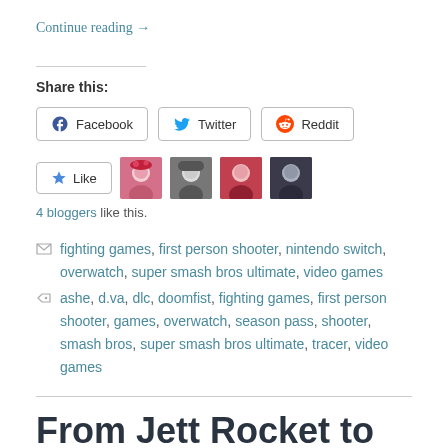Continue reading →
Share this:
Facebook  Twitter  Reddit
Like  [4 blogger avatars]
4 bloggers like this.
fighting games, first person shooter, nintendo switch, overwatch, super smash bros ultimate, video games
ashe, d.va, dlc, doomfist, fighting games, first person shooter, games, overwatch, season pass, shooter, smash bros, super smash bros ultimate, tracer, video games
From Jett Rocket to